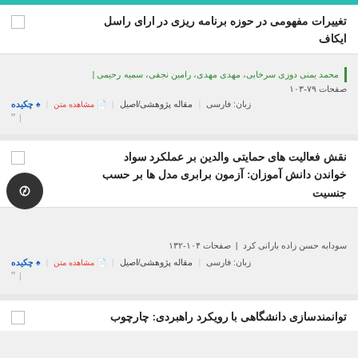تغییرات مفهومی در حوزه برنامه ریزی در ارای راسل ایکاف
محمد یمنی دوزی سرخابی، مهدی مهدی، رامین نجفی، سمیه رحیمی
صفحات ۷۹-۱۰۳
♠ چکیده | 📄 مشاهده متن | مقاله پژوهشی/اصیل | زبان: فارسی
نقش فعالیت های حمایتی والدین بر عملکرد سواد خواندن دانش آموزان: آزمون برابری مدل ها بر حسب جنسیت
سودابه حسن زاده بارانی کرد | صفحات ۱۰۴-۱۳۲
♠ چکیده | 📄 مشاهده متن | مقاله پژوهشی/اصیل | زبان: فارسی
توانمندسازی دانشگاهی با رویکرد راهبردی: چارچوب